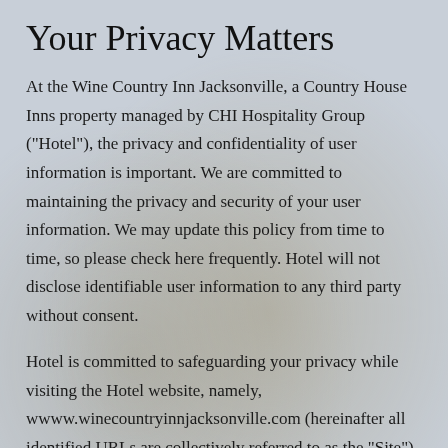Your Privacy Matters
At the Wine Country Inn Jacksonville, a Country House Inns property managed by CHI Hospitality Group ("Hotel"), the privacy and confidentiality of user information is important. We are committed to maintaining the privacy and security of your user information. We may update this policy from time to time, so please check here frequently. Hotel will not disclose identifiable user information to any third party without consent.
Hotel is committed to safeguarding your privacy while visiting the Hotel website, namely, wwww.winecountryinnjacksonville.com (hereinafter all identified URLs are collectively referred to as the "Site"). Our goal is to provide you with an Internet experience that delivers the information, resources, and services that are